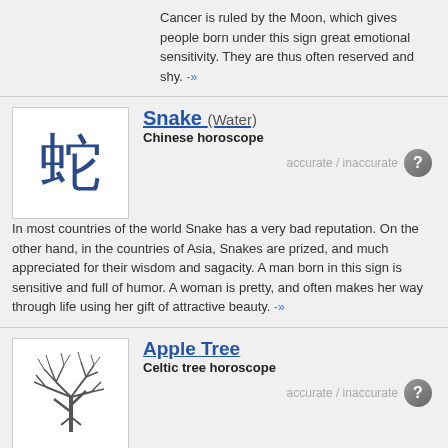Cancer is ruled by the Moon, which gives people born under this sign great emotional sensitivity. They are thus often reserved and shy. -»
Snake (Water)
Chinese horoscope
accurate / inaccurate
In most countries of the world Snake has a very bad reputation. On the other hand, in the countries of Asia, Snakes are prized, and much appreciated for their wisdom and sagacity. A man born in this sign is sensitive and full of humor. A woman is pretty, and often makes her way through life using her gift of attractive beauty. -»
Apple Tree
Celtic tree horoscope
accurate / inaccurate
People born under the rule of Apple tree are usually pleasant, and have a special charisma. When dealing with others they are usually warm and generous. They are contemplative and willing to embark on any